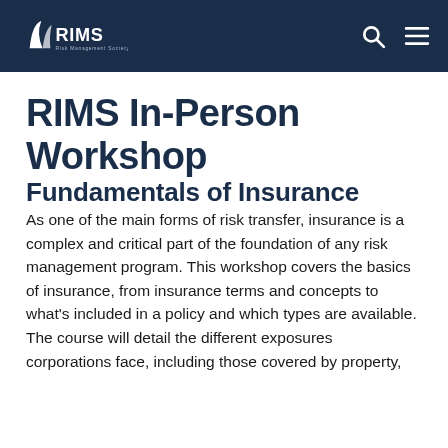RIMS Risk Management Society
RIMS In-Person Workshop
Fundamentals of Insurance
As one of the main forms of risk transfer, insurance is a complex and critical part of the foundation of any risk management program. This workshop covers the basics of insurance, from insurance terms and concepts to what's included in a policy and which types are available. The course will detail the different exposures corporations face, including those covered by property, casualty and other insurance as well as risks from